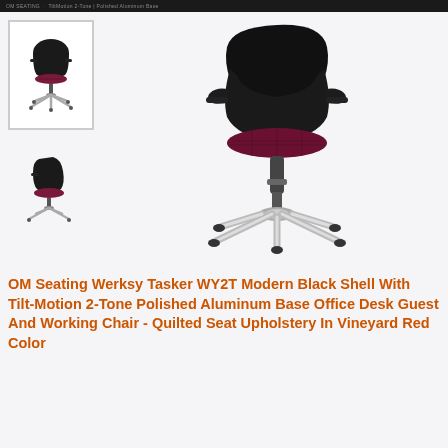OM Seating Werksy Tasker WY2T - Tilt-Motion 2-Tone Polished Aluminum Base
[Figure (photo): Product photo thumbnails and main image of OM Seating Werksy Tasker WY2T office chair with black shell, burgundy/vineyard red quilted seat upholstery, and polished aluminum 5-star base with casters]
OM Seating Werksy Tasker WY2T Modern Black Shell With Tilt-Motion 2-Tone Polished Aluminum Base Office Desk Guest And Working Chair - Quilted Seat Upholstery In Vineyard Red Color